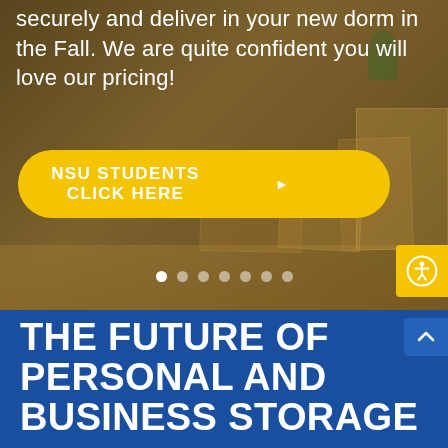securely and deliver in your new dorm in the Fall. We are quite confident you will love our pricing!
NSU STUDENTS CLICK HERE ▶
[Figure (other): Accessibility icon button (person in circle) on yellow background]
[Figure (other): Carousel navigation dots, 7 dots with first dot active/white]
THE FUTURE OF PERSONAL AND BUSINESS STORAGE